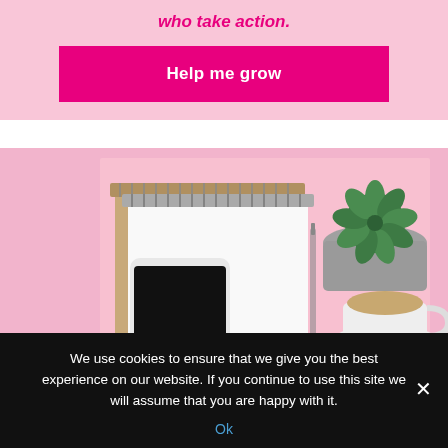who take action.
Help me grow
[Figure (photo): Flat lay photo of a desk with a smartphone, two spiral notebooks, a pen, a succulent plant in a concrete pot, and a cup of coffee with saucer, all on a pink background.]
We use cookies to ensure that we give you the best experience on our website. If you continue to use this site we will assume that you are happy with it.
Ok